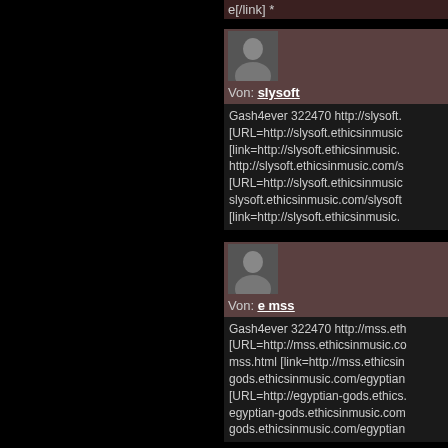e[/link] *
[Figure (photo): Small avatar photo of user slysoft]
Von: slysoft
Gash4ever 322470 http://slysoft. [URL=http://slysoft.ethicsinmusic [link=http://slysoft.ethicsinmusic. http://slysoft.ethicsinmusic.com/s [URL=http://slysoft.ethicsinmusic slysoft.ethicsinmusic.com/slysoft [link=http://slysoft.ethicsinmusic.
[Figure (photo): Small avatar photo of user e mss]
Von: e mss
Gash4ever 322470 http://mss.eth [URL=http://mss.ethicsinmusic.co mss.html [link=http://mss.ethicsin gods.ethicsinmusic.com/egyptian [URL=http://egyptian-gods.ethics. egyptian-gods.ethicsinmusic.com gods.ethicsinmusic.com/egyptian
[Figure (photo): Small avatar photo of user dmx we who]
Von: dmx we who
Gash4ever 322470 http://dxb...